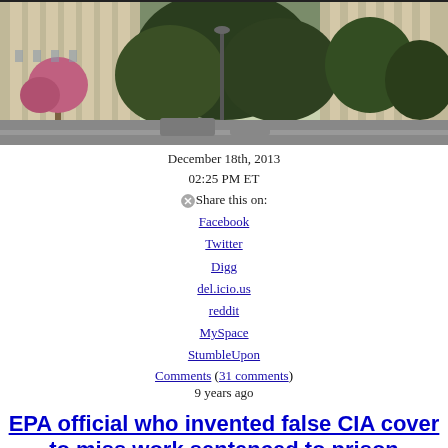[Figure (photo): Exterior photo of a large government building with trees and a street lamp in the foreground]
December 18th, 2013
02:25 PM ET
Share this on: Facebook Twitter Digg del.icio.us reddit MySpace StumbleUpon
Comments (31 comments)
9 years ago
EPA official who invented false CIA cover to miss work sentenced to prison